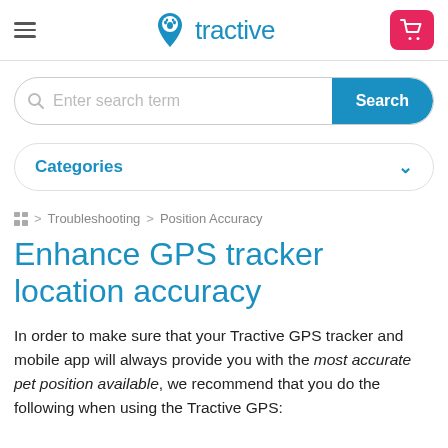tractive
Enter search term  Search
Categories
Home > Troubleshooting > Position Accuracy
Enhance GPS tracker location accuracy
In order to make sure that your Tractive GPS tracker and mobile app will always provide you with the most accurate pet position available, we recommend that you do the following when using the Tractive GPS: